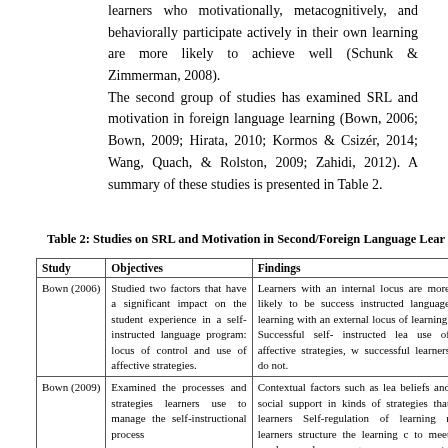learners who motivationally, metacognitively, and behaviorally participate actively in their own learning are more likely to achieve well (Schunk & Zimmerman, 2008). The second group of studies has examined SRL and motivation in foreign language learning (Bown, 2006; Bown, 2009; Hirata, 2010; Kormos & Csizér, 2014; Wang, Quach, & Rolston, 2009; Zahidi, 2012). A summary of these studies is presented in Table 2.
Table 2: Studies on SRL and Motivation in Second/Foreign Language Lear...
| Study | Objectives | Findings |
| --- | --- | --- |
| Bown (2006) | Studied two factors that have a significant impact on the student experience in a self-instructed language program: locus of control and use of affective strategies. | Learners with an internal locus are more likely to be success instructed language learning with an external locus of learning. Successful self- instructed lea use of affective strategies, w successful learners do not. |
| Bown (2009) | Examined the processes and strategies learners use to manage the self-instructional process | Contextual factors such as lea beliefs and social support in kinds of strategies that learners Self-regulation of learning r learners structure the learning c to meet needs and manage responses to individualized learning. |